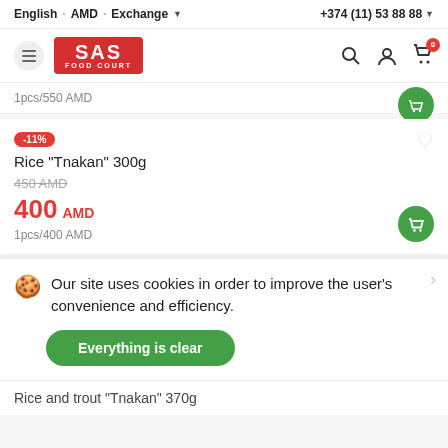English · AMD · Exchange   +374 (11) 53 88 88
[Figure (logo): SAS FOOD COURT logo in red rectangle]
1pcs/550 AMD
-11%
Rice "Tnakan" 300g
450 AMD (strikethrough)
400 AMD
1pcs/400 AMD
Our site uses cookies in order to improve the user's convenience and efficiency.
Everything is clear
Rice and trout "Tnakan" 370g